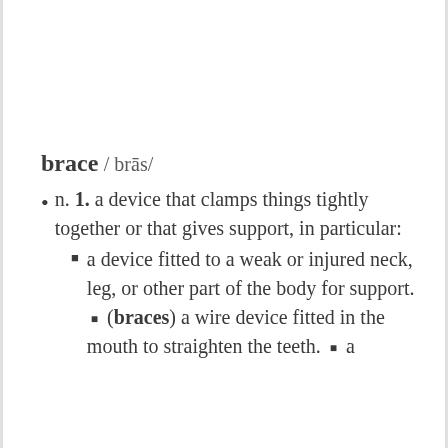brace / brās/
n. 1. a device that clamps things tightly together or that gives support, in particular:
a device fitted to a weak or injured neck, leg, or other part of the body for support. ▪ (braces) a wire device fitted in the mouth to straighten the teeth. ▪ a